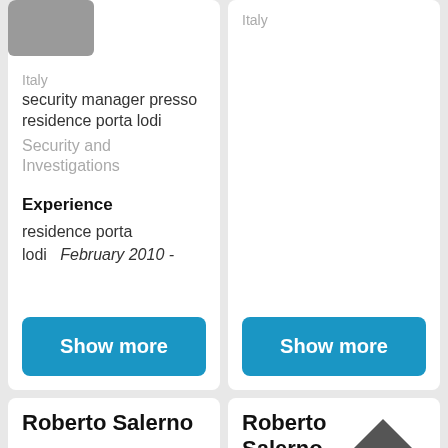Italy
security manager presso residence porta lodi
Security and Investigations
Experience
residence porta lodi   February 2010 -
Show more
Italy
Show more
Roberto Salerno
Italy
Roberto Salerno
Italy